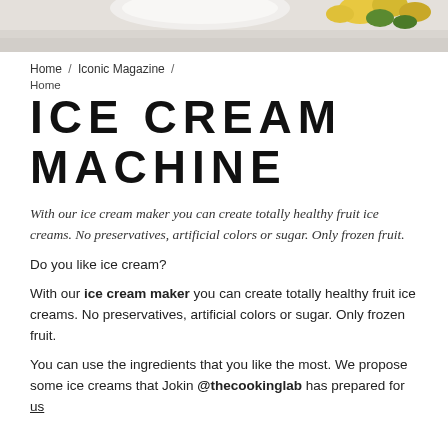[Figure (photo): Partial top strip of a photo showing ice cream or fruit, light background with yellow and green elements visible at top edge]
Home / Iconic Magazine /
Home
ICE CREAM MACHINE
With our ice cream maker you can create totally healthy fruit ice creams. No preservatives, artificial colors or sugar. Only frozen fruit.
Do you like ice cream?
With our ice cream maker you can create totally healthy fruit ice creams. No preservatives, artificial colors or sugar. Only frozen fruit.
You can use the ingredients that you like the most. We propose some ice creams that Jokin @thecookinglab has prepared for us